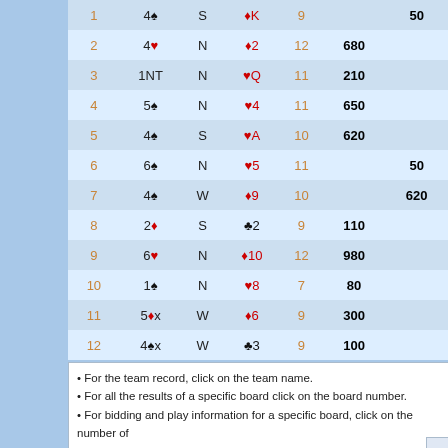| # | Contract | By | Lead | Tricks | NS Score | EW Score |
| --- | --- | --- | --- | --- | --- | --- |
| 1 | 4♠ | S | ♦K | 9 |  | 50 |
| 2 | 4♥ | N | ♦2 | 12 | 680 |  |
| 3 | 1NT | N | ♥Q | 11 | 210 |  |
| 4 | 5♠ | N | ♥4 | 11 | 650 |  |
| 5 | 4♠ | S | ♥A | 10 | 620 |  |
| 6 | 6♠ | N | ♥5 | 11 |  | 50 |
| 7 | 4♠ | W | ♦9 | 10 |  | 620 |
| 8 | 2♦ | S | ♣2 | 9 | 110 |  |
| 9 | 6♥ | N | ♦10 | 12 | 980 |  |
| 10 | 1♠ | N | ♥8 | 7 | 80 |  |
| 11 | 5♦x | W | ♦6 | 9 | 300 |  |
| 12 | 4♠x | W | ♣3 | 9 | 100 |  |
• For the team record, click on the team name.
• For all the results of a specific board click on the board number.
• For bidding and play information for a specific board, click on the number of
• For bidding and play information for all boards of the match, click here.